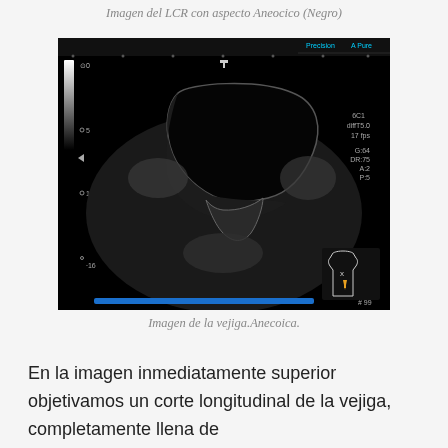Imagen del LCR con aspecto Aneocico (Negro)
[Figure (photo): Ultrasound image showing a longitudinal view of the bladder, completely filled, appearing as a large anechoic (black) area on the screen. The image displays ultrasound machine parameters including 6C1, diffT5.0, 17 fps, G:64, DR:75, A:2, P:5, and frame number #99. A small anatomical orientation diagram is visible in the bottom right corner with an orange arrow indicator. Depth markers show 0, 5, 10, and 16 cm on the left side.]
Imagen de la vejiga.Anecoica.
En la imagen inmediatamente superior objetivamos un corte longitudinal de la vejiga, completamente llena de